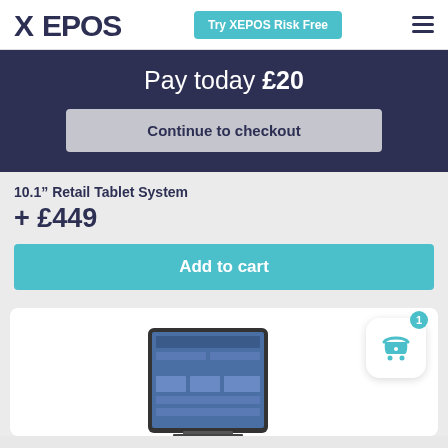XEPOS | Try XEPOS Risk Free
Pay today £20
Continue to checkout
10.1" Retail Tablet System
+ £449
Add to cart
[Figure (screenshot): XEPOS retail tablet system device shown in a white card with a teal shopping cart icon badge showing '1' in the top right corner]